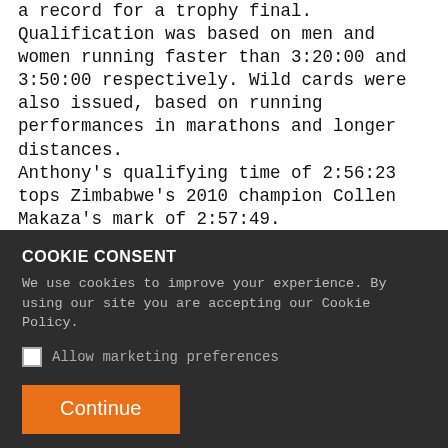a record for a trophy final. Qualification was based on men and women running faster than 3:20:00 and 3:50:00 respectively. Wild cards were also issued, based on running performances in marathons and longer distances. Anthony's qualifying time of 2:56:23 tops Zimbabwe's 2010 champion Collen Makaza's mark of 2:57:49. Kenya's 2011 champion Eliot Kiplagat Biwott and USA's multiple podium finisher Michael Wardian are also in the field. In the women's field, rising US star Emily Harrison leads the way with a time of 3:15:01 and, on paper, has a considerable
COOKIE CONSENT
We use cookies to improve your experience. By using our site you are accepting our Cookie Policy.
☐ Allow marketing preferences
Continue